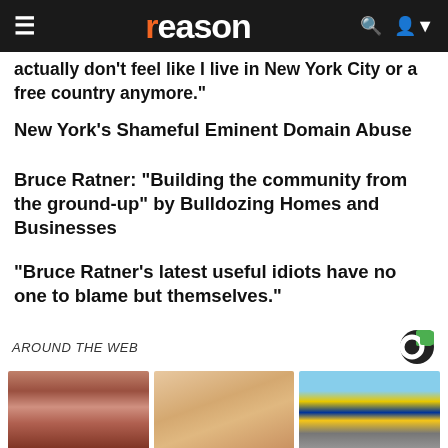reason
actually don't feel like I live in New York City or a free country anymore."
New York's Shameful Eminent Domain Abuse
Bruce Ratner: "Building the community from the ground-up" by Bulldozing Homes and Businesses
"Bruce Ratner's latest useful idiots have no one to blame but themselves."
AROUND THE WEB
[Figure (photo): Close-up of aged, wrinkled lips]
[Figure (photo): Close-up of human foot/heel skin]
[Figure (photo): Women in yellow uniforms near a car]
Doctors Stunned: This
What Causes Plague
This is How Much Ashburn